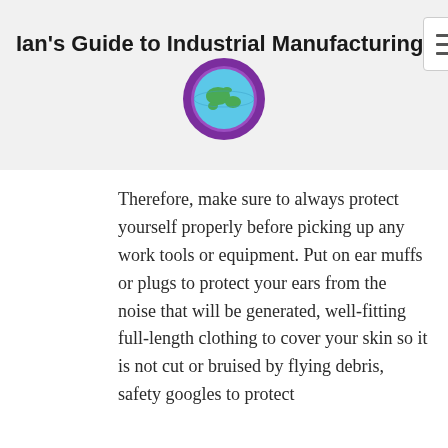Ian's Guide to Industrial Manufacturing
[Figure (logo): Globe logo icon with purple ring and blue/teal earth illustration]
Therefore, make sure to always protect yourself properly before picking up any work tools or equipment. Put on ear muffs or plugs to protect your ears from the noise that will be generated, well-fitting full-length clothing to cover your skin so it is not cut or bruised by flying debris, safety googles to protect